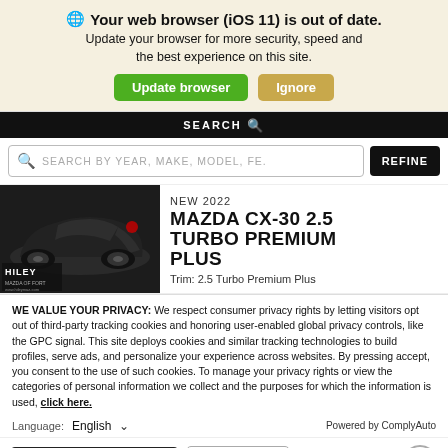🌐 Your web browser (iOS 11) is out of date. Update your browser for more security, speed and the best experience on this site.
Update browser | Ignore
SEARCH
SEARCH BY YEAR, MAKE, MODEL, FE.
REFINE
[Figure (photo): Mazda CX-30 car image with Hiley dealership branding]
NEW 2022
MAZDA CX-30 2.5 TURBO PREMIUM PLUS
Trim: 2.5 Turbo Premium Plus
WE VALUE YOUR PRIVACY: We respect consumer privacy rights by letting visitors opt out of third-party tracking cookies and honoring user-enabled global privacy controls, like the GPC signal. This site deploys cookies and similar tracking technologies to build profiles, serve ads, and personalize your experience across websites. By pressing accept, you consent to the use of such cookies. To manage your privacy rights or view the categories of personal information we collect and the purposes for which the information is used, click here.
Language:   English   ∨   Powered by ComplyAuto
Accept and Continue →   Privacy Policy   ✕